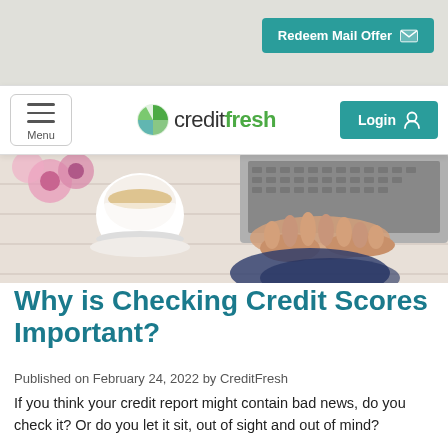Redeem Mail Offer
credit fresh — Menu | Login
[Figure (photo): Overhead view of a person's hands typing on a laptop keyboard, with a cup of tea and pink flowers visible on a white wooden table surface.]
Why is Checking Credit Scores Important?
Published on February 24, 2022 by CreditFresh
If you think your credit report might contain bad news, do you check it? Or do you let it sit, out of sight and out of mind?